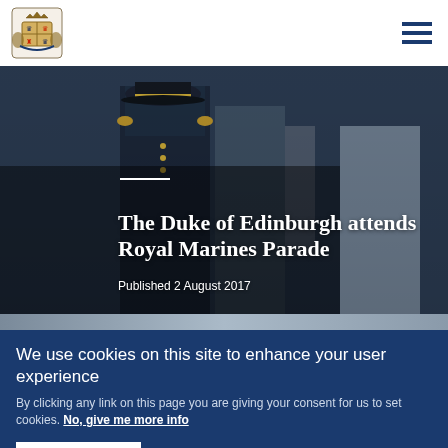Royal.uk logo and navigation menu
[Figure (photo): Hero image showing military personnel in formal uniform at a Royal Marines Parade, with overlay text]
The Duke of Edinburgh attends Royal Marines Parade
Published 2 August 2017
[Figure (photo): Partial strip of a second photograph below the hero image]
We use cookies on this site to enhance your user experience
By clicking any link on this page you are giving your consent for us to set cookies. No, give me more info
OK, I agree